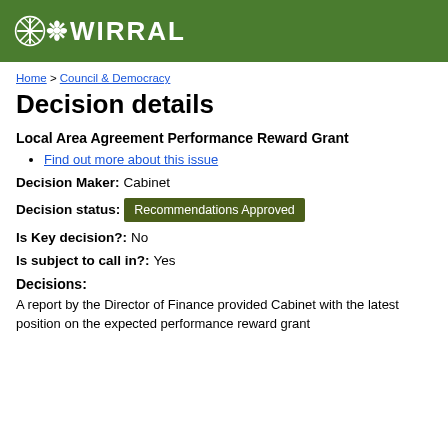[Figure (logo): Wirral Council logo with snowflake icon and WIRRAL text in white on green background]
Home > Council & Democracy
Decision details
Local Area Agreement Performance Reward Grant
Find out more about this issue
Decision Maker: Cabinet
Decision status: Recommendations Approved
Is Key decision?: No
Is subject to call in?: Yes
Decisions:
A report by the Director of Finance provided Cabinet with the latest position on the expected performance reward grant